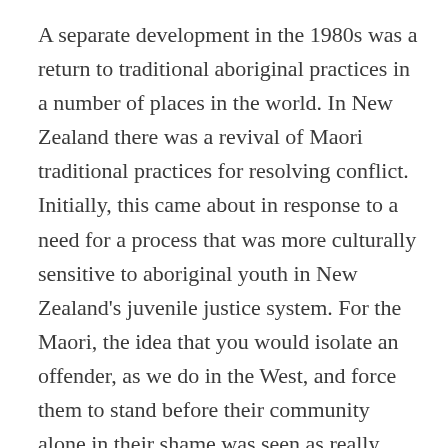A separate development in the 1980s was a return to traditional aboriginal practices in a number of places in the world. In New Zealand there was a revival of Maori traditional practices for resolving conflict. Initially, this came about in response to a need for a process that was more culturally sensitive to aboriginal youth in New Zealand's juvenile justice system. For the Maori, the idea that you would isolate an offender, as we do in the West, and force them to stand before their community alone in their shame was seen as really barbaric. In their culture, an offender's family would always stand along side the person who was being shamed for having committed harm. So this led to the widespread use of what is called family group conferencing in that country and, by 1989, legislation was passed there to use this method for all juvenile cases, and then also for child